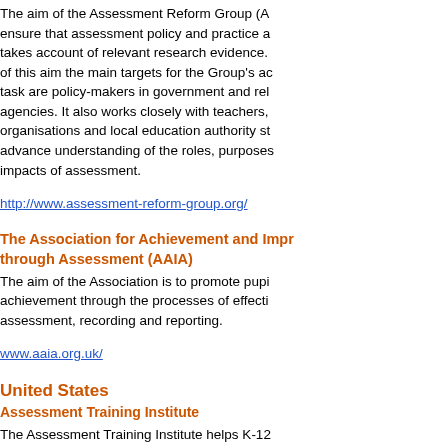The aim of the Assessment Reform Group (A... ensure that assessment policy and practice a... takes account of relevant research evidence. of this aim the main targets for the Group's ad... task are policy-makers in government and rel... agencies. It also works closely with teachers, organisations and local education authority st... advance understanding of the roles, purposes impacts of assessment.
http://www.assessment-reform-group.org/
The Association for Achievement and Impr... through Assessment (AAIA)
The aim of the Association is to promote pupi... achievement through the processes of effecti... assessment, recording and reporting.
www.aaia.org.uk/
United States
Assessment Training Institute
The Assessment Training Institute helps K-12 educators improve learning by combining stu... involved classroom assessment with day-to-d... instruction. View this website to learn more ab... Assessment Training Institute's professional development programs, training materials and leadership training.
http://www.assessmentinst.com/